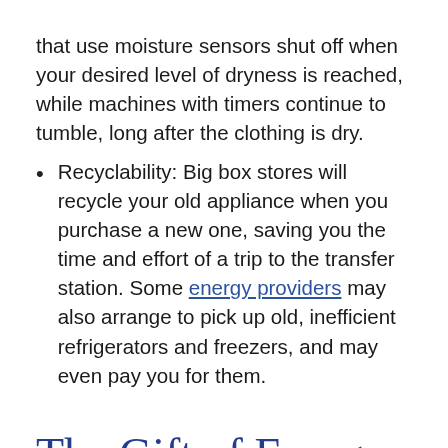that use moisture sensors shut off when your desired level of dryness is reached, while machines with timers continue to tumble, long after the clothing is dry.
Recyclability: Big box stores will recycle your old appliance when you purchase a new one, saving you the time and effort of a trip to the transfer station. Some energy providers may also arrange to pick up old, inefficient refrigerators and freezers, and may even pay you for them.
The Gift of Energy Efficiency